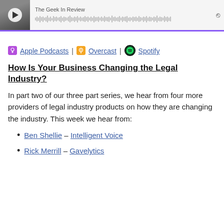[Figure (screenshot): Podcast player widget for 'The Geek In Review' with a play button, waveform, and purple bottom border]
🎙 Apple Podcasts | 🎙 Overcast | 🎵 Spotify
How Is Your Business Changing the Legal Industry?
In part two of our three part series, we hear from four more providers of legal industry products on how they are changing the industry. This week we hear from:
Ben Shellie – Intelligent Voice
Rick Merrill – Gavelytics